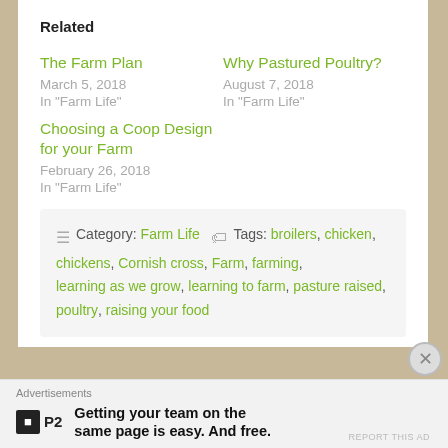Related
The Farm Plan
March 5, 2018
In "Farm Life"
Why Pastured Poultry?
August 7, 2018
In "Farm Life"
Choosing a Coop Design for your Farm
February 26, 2018
In "Farm Life"
Category: Farm Life   Tags: broilers, chicken, chickens, Cornish cross, Farm, farming, learning as we grow, learning to farm, pasture raised, poultry, raising your food
Advertisements
Getting your team on the same page is easy. And free.